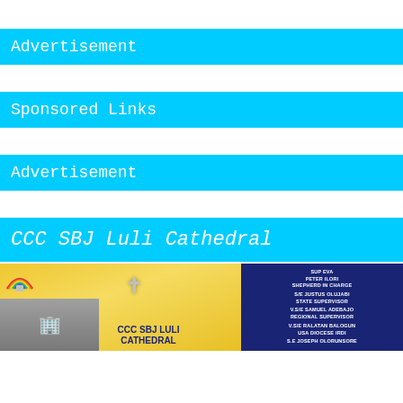Advertisement
Sponsored Links
Advertisement
CCC SBJ Luli Cathedral
[Figure (photo): CCC SBJ Luli Cathedral church building photo with rainbow logo, cross, yellow background, and a dark blue panel listing church officials: SUP EVA PETER ILORI SHEPHERD IN CHARGE, S/E JUSTUS OLUJABI STATE SUPERVISOR, V.S/E SAMUEL ADEBAJO REGIONAL SUPERVISOR, V.S/E RALATAN BALOGUN USA DIOCESE IRDI, S.E JOSEPH OLORUNSORE]